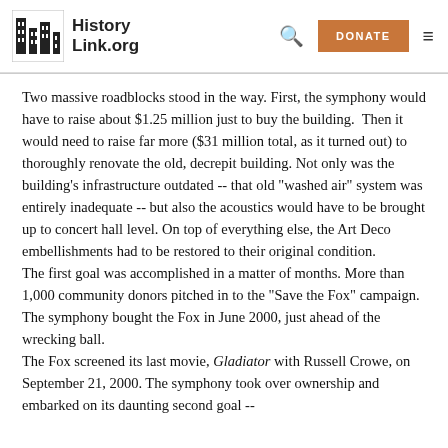HistoryLink.org
Two massive roadblocks stood in the way. First, the symphony would have to raise about $1.25 million just to buy the building.  Then it would need to raise far more ($31 million total, as it turned out) to thoroughly renovate the old, decrepit building. Not only was the building's infrastructure outdated -- that old "washed air" system was entirely inadequate -- but also the acoustics would have to be brought up to concert hall level. On top of everything else, the Art Deco embellishments had to be restored to their original condition.
The first goal was accomplished in a matter of months. More than 1,000 community donors pitched in to the "Save the Fox" campaign. The symphony bought the Fox in June 2000, just ahead of the wrecking ball.
The Fox screened its last movie, Gladiator with Russell Crowe, on September 21, 2000. The symphony took over ownership and embarked on its daunting second goal --